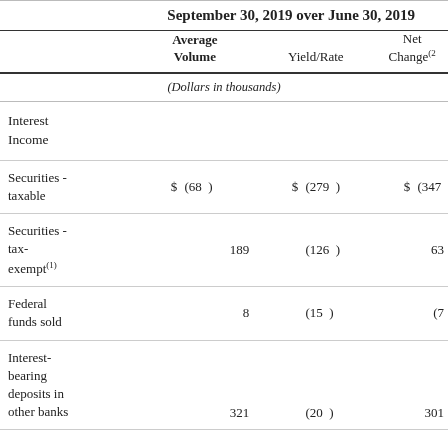|  | Average Volume | Yield/Rate | Net Change(2) |
| --- | --- | --- | --- |
| (Dollars in thousands) |  |  |  |
| Interest Income |  |  |  |
| Securities - taxable | $ (68 ) | $ (279 ) | $ (347 |
| Securities - tax-exempt(1) | 189 | (126 ) | 63 |
| Federal funds sold | 8 | (15 ) | (7 |
| Interest-bearing deposits in other banks | 321 | (20 ) | 301 |